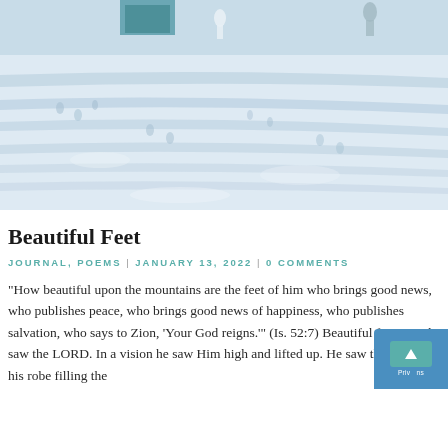[Figure (photo): Aerial or ground-level view of a snowy/sandy landscape with footprints, shadows, and a few small figures in the background. Cool blue-white tones.]
Beautiful Feet
JOURNAL, POEMS  |  JANUARY 13, 2022  |  0 COMMENTS
"How beautiful upon the mountains are the feet of him who brings good news, who publishes peace, who brings good news of happiness, who publishes salvation, who says to Zion, 'Your God reigns.'" (Is. 52:7) Beautiful feet, Isaiah saw the LORD. In a vision he saw Him high and lifted up. He saw the train of his robe filling the